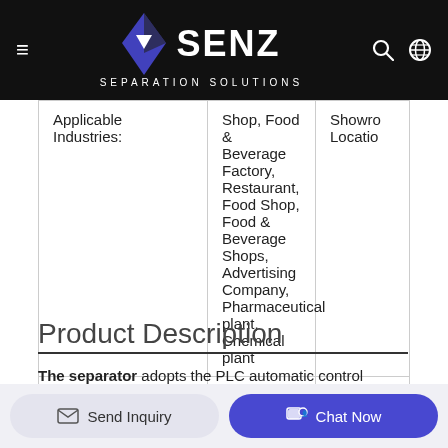[Figure (logo): VSENZ Separation Solutions logo on black header bar with hamburger menu, search icon, and globe icon]
|  |  |  |
| --- | --- | --- |
| Applicable Industries: | Shop, Food & Beverage Factory, Restaurant, Food Shop, Food & Beverage Shops, Advertising Company, Pharmaceutical plant, Chemical plant | Showro Location |
| Certification: | CE BV ISO |  |
Product Description
The separator adopts the PLC automatic control system, can carry out automatic de-slugging, ability of fitness is stronger,